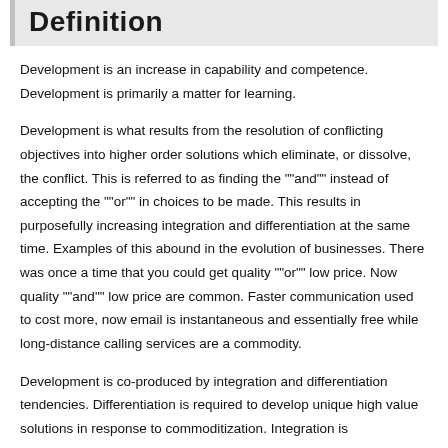Definition
Development is an increase in capability and competence. Development is primarily a matter for learning.
Development is what results from the resolution of conflicting objectives into higher order solutions which eliminate, or dissolve, the conflict. This is referred to as finding the ""and"" instead of accepting the ""or"" in choices to be made. This results in purposefully increasing integration and differentiation at the same time. Examples of this abound in the evolution of businesses. There was once a time that you could get quality ""or"" low price. Now quality ""and"" low price are common. Faster communication used to cost more, now email is instantaneous and essentially free while long-distance calling services are a commodity.
Development is co-produced by integration and differentiation tendencies. Differentiation is required to develop unique high value solutions in response to commoditization. Integration is